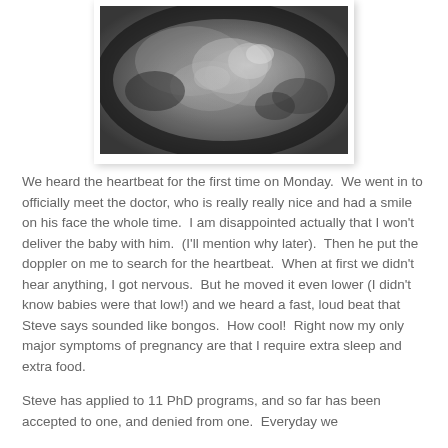[Figure (photo): Ultrasound image of a fetus, black and white sonogram showing fetal profile, framed with white border and subtle shadow]
We heard the heartbeat for the first time on Monday.  We went in to officially meet the doctor, who is really really nice and had a smile on his face the whole time.  I am disappointed actually that I won't deliver the baby with him.  (I'll mention why later).  Then he put the doppler on me to search for the heartbeat.  When at first we didn't hear anything, I got nervous.  But he moved it even lower (I didn't know babies were that low!) and we heard a fast, loud beat that Steve says sounded like bongos.  How cool!  Right now my only major symptoms of pregnancy are that I require extra sleep and extra food.
Steve has applied to 11 PhD programs, and so far has been accepted to one, and denied from one.  Everyday we